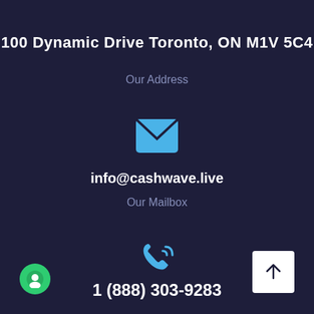100 Dynamic Drive Toronto, ON M1V 5C4
Our Address
[Figure (illustration): Blue envelope email icon]
info@cashwave.live
Our Mailbox
[Figure (illustration): Blue phone/call icon with signal waves]
1 (888) 303-9283
[Figure (illustration): White upward arrow button for scroll to top]
[Figure (illustration): Green circle chat button with white chat bubble icon]